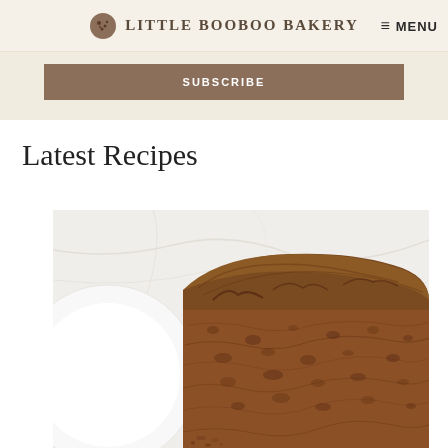LITTLE BOOBOO BAKERY  ≡ MENU
SUBSCRIBE
Latest Recipes
[Figure (photo): Close-up overhead photo of a sliced brown-crusted quick bread loaf on a white marble surface, with a white plate partially visible on the left side.]